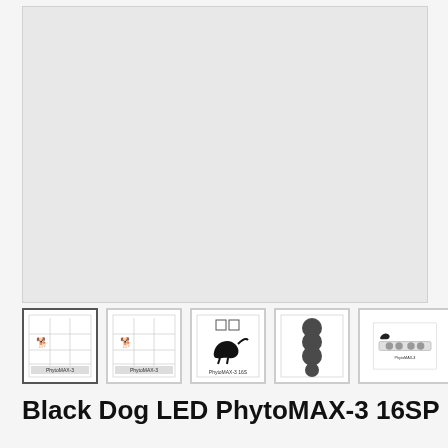[Figure (photo): Large main product image area showing a light gray empty/blank product display area for Black Dog LED PhytoMAX-3 16SP grow light]
[Figure (photo): Thumbnail 1 (selected/active): Product spec sheet showing grid layout with dog logo and PhytoMAX-3 label]
[Figure (photo): Thumbnail 2: Product spec sheet showing grid layout with dog logo and PhytoMAX-3 label]
[Figure (photo): Thumbnail 3: Product image showing dog silhouette logo and PhytoMAX-3 16S text]
[Figure (photo): Thumbnail 4: Product showing four dark circular LED modules stacked vertically]
[Figure (photo): Thumbnail 5: Wide product image showing the light fixture horizontally with PhytoMAX-3 branding]
Black Dog LED PhytoMAX-3 16SP